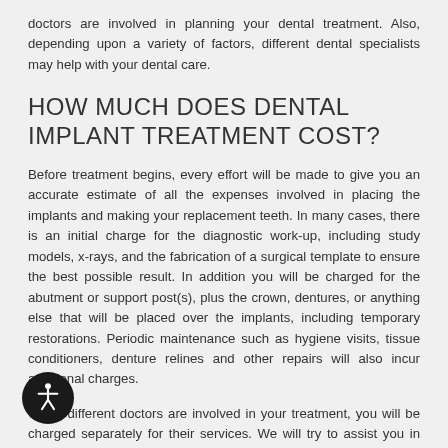doctors are involved in planning your dental treatment. Also, depending upon a variety of factors, different dental specialists may help with your dental care.
HOW MUCH DOES DENTAL IMPLANT TREATMENT COST?
Before treatment begins, every effort will be made to give you an accurate estimate of all the expenses involved in placing the implants and making your replacement teeth. In many cases, there is an initial charge for the diagnostic work-up, including study models, x-rays, and the fabrication of a surgical template to ensure the best possible result. In addition you will be charged for the abutment or support post(s), plus the crown, dentures, or anything else that will be placed over the implants, including temporary restorations. Periodic maintenance such as hygiene visits, tissue conditioners, denture relines and other repairs will also incur additional charges.
When different doctors are involved in your treatment, you will be charged separately for their services. We will try to assist you in estimating what your actual payments will be after we evaluate your insurance coverage or other third party payments. Also, you should consider your personal financial investment in